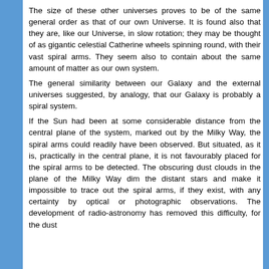The size of these other universes proves to be of the same general order as that of our own Universe. It is found also that they are, like our Universe, in slow rotation; they may be thought of as gigantic celestial Catherine wheels spinning round, with their vast spiral arms. They seem also to contain about the same amount of matter as our own system.
The general similarity between our Galaxy and the external universes suggested, by analogy, that our Galaxy is probably a spiral system.
If the Sun had been at some considerable distance from the central plane of the system, marked out by the Milky Way, the spiral arms could readily have been observed. But situated, as it is, practically in the central plane, it is not favourably placed for the spiral arms to be detected. The obscuring dust clouds in the plane of the Milky Way dim the distant stars and make it impossible to trace out the spiral arms, if they exist, with any certainty by optical or photographic observations. The development of radio-astronomy has removed this difficulty, for the dust